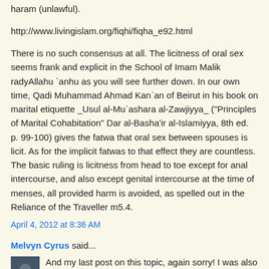haram (unlawful).
http://www.livingislam.org/fiqhi/fiqha_e92.html
There is no such consensus at all. The licitness of oral sex seems frank and explicit in the School of Imam Malik radyAllahu `anhu as you will see further down. In our own time, Qadi Muhammad Ahmad Kan`an of Beirut in his book on marital etiquette _Usul al-Mu`ashara al-Zawjiyya_ ("Principles of Marital Cohabitation" Dar al-Basha'ir al-Islamiyya, 8th ed. p. 99-100) gives the fatwa that oral sex between spouses is licit. As for the implicit fatwas to that effect they are countless. The basic ruling is licitness from head to toe except for anal intercourse, and also except genital intercourse at the time of menses, all provided harm is avoided, as spelled out in the Reliance of the Traveller m5.4.
April 4, 2012 at 8:36 AM
Melvyn Cyrus said...
And my last post on this topic, again sorry! I was also